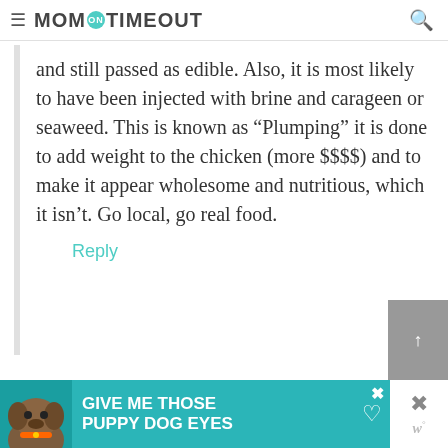MOM ON TIMEOUT
and still passed as edible. Also, it is most likely to have been injected with brine and carageen or seaweed. This is known as “Plumping” it is done to add weight to the chicken (more $$$$) and to make it appear wholesome and nutritious, which it isn’t. Go local, go real food.
Reply
[Figure (screenshot): Advertisement banner: teal background with dog image and text GIVE ME THOSE PUPPY DOG EYES with a heart icon]